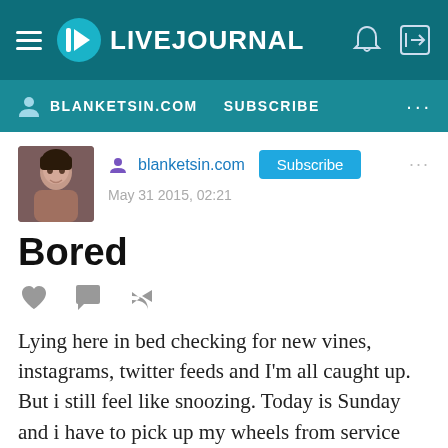LIVEJOURNAL
BLANKETSIN.COM  SUBSCRIBE
blanketsin.com
May 31 2015, 02:21
Bored
Lying here in bed checking for new vines, instagrams, twitter feeds and I'm all caught up. But i still feel like snoozing. Today is Sunday and i have to pick up my wheels from service shop. Dreading this because it's 35 miles away and i have to spend 2 hours riding the train to get there.